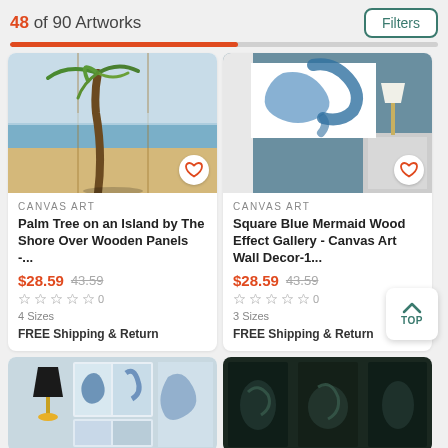48 of 90 Artworks
Filters
[Figure (other): Progress bar showing 48 of 90 artworks loaded, approximately 53% filled in red/orange]
[Figure (photo): Palm tree on a beach with wooden panels, triptych canvas art]
CANVAS ART
Palm Tree on an Island by The Shore Over Wooden Panels -...
$28.59  43.59
0
4 Sizes
FREE Shipping & Return
[Figure (photo): Square blue mermaid wood effect gallery canvas art wall decor displayed on teal wall with lamp]
CANVAS ART
Square Blue Mermaid Wood Effect Gallery - Canvas Art Wall Decor-1...
$28.59  43.59
0
3 Sizes
FREE Shipping & Return
[Figure (photo): Partial view of bottom left product card showing mermaid-themed canvas art]
[Figure (photo): Partial view of bottom right product card with dark underwater theme]